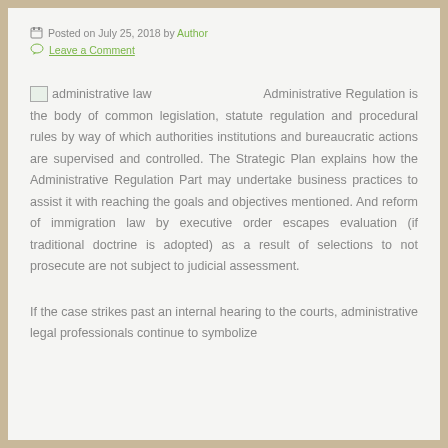Posted on July 25, 2018 by Author
Leave a Comment
administrative law   Administrative Regulation is the body of common legislation, statute regulation and procedural rules by way of which authorities institutions and bureaucratic actions are supervised and controlled. The Strategic Plan explains how the Administrative Regulation Part may undertake business practices to assist it with reaching the goals and objectives mentioned. And reform of immigration law by executive order escapes evaluation (if traditional doctrine is adopted) as a result of selections to not prosecute are not subject to judicial assessment.
If the case strikes past an internal hearing to the courts, administrative legal professionals continue to symbolize